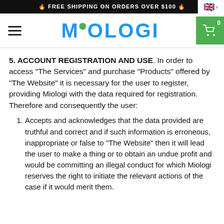🔥 FREE SHIPPING ON ORDERS OVER $100 🔥
[Figure (logo): Miologi logo with hamburger menu and shopping cart button]
5. ACCOUNT REGISTRATION AND USE. In order to access "The Services" and purchase "Products" offered by "The Website" it is necessary for the user to register, providing Miologi with the data required for registration. Therefore and consequently the user:
Accepts and acknowledges that the data provided are truthful and correct and if such information is erroneous, inappropriate or false to "The Website" then it will lead the user to make a thing or to obtain an undue profit and would be committing an illegal conduct for which Miologi reserves the right to initiate the relevant actions of the case if it would merit them.